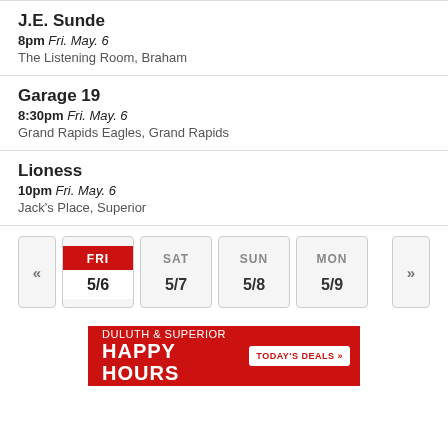J.E. Sunde
8pm Fri. May. 6
The Listening Room, Braham
Garage 19
8:30pm Fri. May. 6
Grand Rapids Eagles, Grand Rapids
Lioness
10pm Fri. May. 6
Jack's Place, Superior
[Figure (other): Navigation bar with day buttons: left arrow, FRI 5/6 (active, red), SAT 5/7, SUN 5/8, MON 5/9, right arrow]
[Figure (infographic): Red advertisement banner: DULUTH & SUPERIOR HAPPY HOURS with TODAY'S DEALS button]